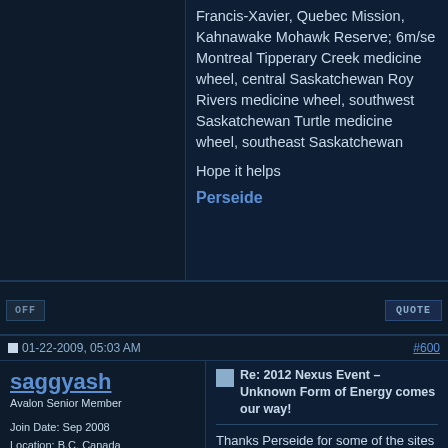Francis-Xavier, Quebec Mission, Kahnawake Mohawk Reserve; 6m/se Montreal Tipperary Creek medicine wheel, central Saskatchewan Roy Rivers medicine wheel, southwest Saskatchewan Turtle medicine wheel, southeast Saskatchewan

Hope it helps

Perseide
OFF | QUOTE
01-22-2009, 05:03 AM  #600
saggyash
Avalon Senior Member
Join Date: Sep 2008
Location: B.C. Canada
Posts: 34
Re: 2012 Nexus Event – Unknown Form of Energy comes our way!
Thanks Perseide for some of the sites in canada and the information where to find them. I have some Metis in me and will also check for any information through the Metis band members. The site by Williams Lake is not far from here.
OFF | QUOTE